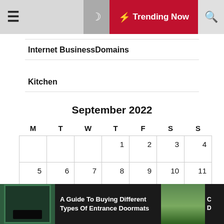☰  🌙  ⚡ Trending Now  🔍
Internet BusinessDomains
Kitchen
| M | T | W | T | F | S | S |
| --- | --- | --- | --- | --- | --- | --- |
|  |  |  | 1 | 2 | 3 | 4 |
| 5 | 6 | 7 | 8 | 9 | 10 | 11 |
| 12 | 13 | 14 | 15 | 16 | 17 | 18 |
| 19 | 20 | 21 | 22 | 23 | 24 | 25 |
A Guide To Buying Different Types Of Entrance Doormats